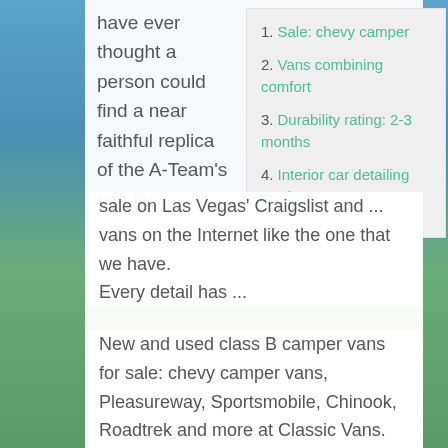have ever thought a person could find a near faithful replica of the A-Team's van for sale on Las Vegas' Craigslist and ... vans on the Internet like the one that we have. Every detail has ...
1. Sale: chevy camper
2. Vans combining comfort
3. Durability rating: 2-3 months
4. Interior car detailing products
New and used class B camper vans for sale: chevy camper vans, Pleasureway, Sportsmobile, Chinook, Roadtrek and more at Classic Vans. Class B camper vans built on a Chevrolet van chassis offer the amenities of a traditional RV without all the back...